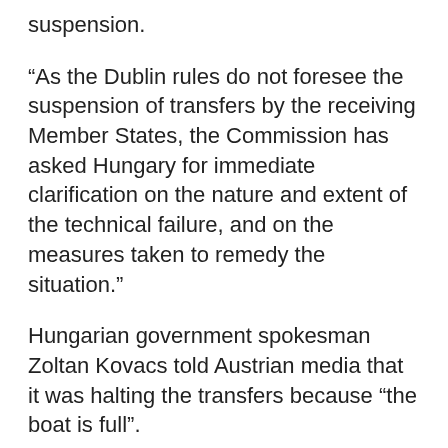suspension.
“As the Dublin rules do not foresee the suspension of transfers by the receiving Member States, the Commission has asked Hungary for immediate clarification on the nature and extent of the technical failure, and on the measures taken to remedy the situation.”
Hungarian government spokesman Zoltan Kovacs told Austrian media that it was halting the transfers because “the boat is full”.
In 2014, Hungary already took in more refugees per capita than any other EU country apart from Sweden, recording 43,000 arrivals in total, and many try to continue on to other EU member states, including Austria, the Czech Republic and Germany.